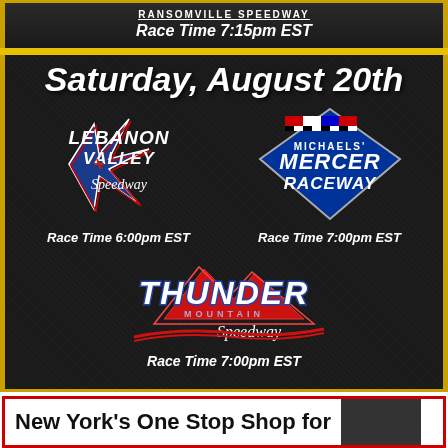RANSOMVILLE SPEEDWAY
Race Time 7:15pm EST
Saturday, August 20th
[Figure (logo): Lebanon Valley Speedway logo with star/arrow emblem]
Race Time 6:00pm EST
[Figure (logo): Michaels Mercer Raceway logo with diamond and checkered flags]
Race Time 7:00pm EST
[Figure (logo): Thunder Mountain Speedway logo with mountain and red lightning]
Race Time 7:00pm EST
New York's One Stop Shop for